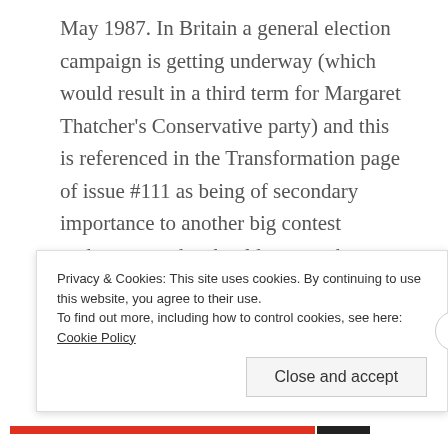May 1987. In Britain a general election campaign is getting underway (which would result in a third term for Margaret Thatcher's Conservative party) and this is referenced in the Transformation page of issue #111 as being of secondary importance to another big contest underway – who should govern the Autobots as the successor the late Optimus Prime! Lee Sullivan's fantastic cover makes it clear that Grimlock is making an aggressive play for the top job. The big shake-up of the Transformers status quo initiated by writer Bob Budiansky through his decision to kill of both Prime and Megatron nears its conclusion but not before we marvel
Privacy & Cookies: This site uses cookies. By continuing to use this website, you agree to their use.
To find out more, including how to control cookies, see here: Cookie Policy
Close and accept